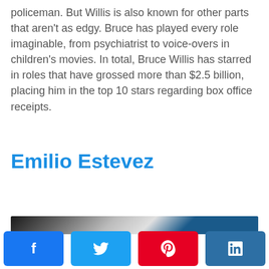policeman. But Willis is also known for other parts that aren't as edgy. Bruce has played every role imaginable, from psychiatrist to voice-overs in children's movies. In total, Bruce Willis has starred in roles that have grossed more than $2.5 billion, placing him in the top 10 stars regarding box office receipts.
Emilio Estevez
[Figure (photo): Partial image strip at the bottom of the page, showing a cropped photograph (dark and blue tones visible).]
Social share buttons: Facebook, Twitter, Pinterest, LinkedIn